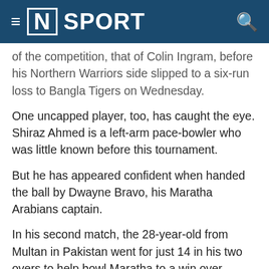[N] SPORT
of the competition, that of Colin Ingram, before his Northern Warriors side slipped to a six-run loss to Bangla Tigers on Wednesday.
One uncapped player, too, has caught the eye. Shiraz Ahmed is a left-arm pace-bowler who was little known before this tournament.
But he has appeared confident when handed the ball by Dwayne Bravo, his Maratha Arabians captain.
In his second match, the 28-year-old from Multan in Pakistan went for just 14 in his two overs to help bowl Maratha to a win over Qalandars.